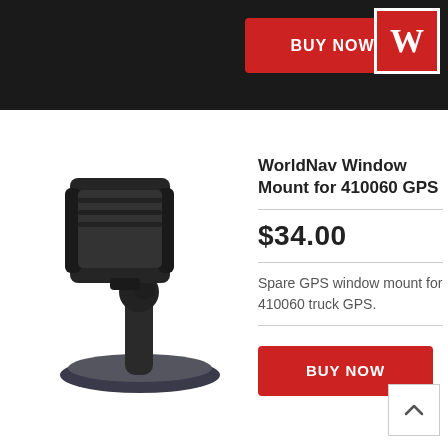[Figure (other): BUY NOW red button at top of page]
[Figure (logo): W logo in red box, top right corner]
[Figure (photo): Photo of a black GPS window mount / suction cup mount for 410060 truck GPS]
WorldNav Window Mount for 410060 GPS
$34.00
Spare GPS window mount for 410060 truck GPS.
[Figure (other): BUY NOW red button at bottom of product info section]